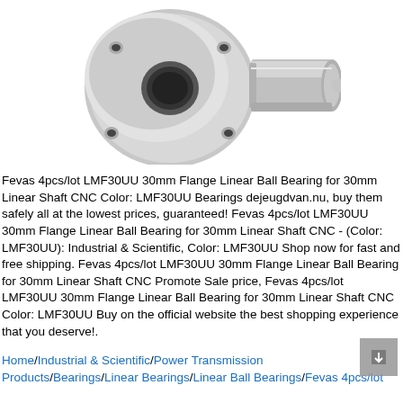[Figure (photo): Two LMF30UU 30mm Flange Linear Ball Bearings shown in metallic gray, one facing front with circular flange and one showing the cylindrical shaft end, against white background.]
Fevas 4pcs/lot LMF30UU 30mm Flange Linear Ball Bearing for 30mm Linear Shaft CNC Color: LMF30UU Bearings dejeugdvan.nu, buy them safely all at the lowest prices, guaranteed! Fevas 4pcs/lot LMF30UU 30mm Flange Linear Ball Bearing for 30mm Linear Shaft CNC - (Color: LMF30UU): Industrial & Scientific, Color: LMF30UU Shop now for fast and free shipping. Fevas 4pcs/lot LMF30UU 30mm Flange Linear Ball Bearing for 30mm Linear Shaft CNC Promote Sale price, Fevas 4pcs/lot LMF30UU 30mm Flange Linear Ball Bearing for 30mm Linear Shaft CNC Color: LMF30UU Buy on the official website the best shopping experience that you deserve!.
Home/Industrial & Scientific/Power Transmission Products/Bearings/Linear Bearings/Linear Ball Bearings/Fevas 4pcs/lot